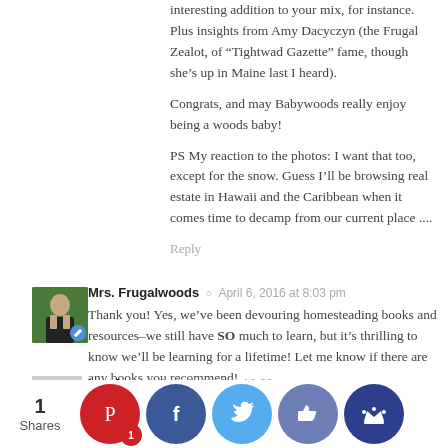interesting addition to your mix, for instance. Plus insights from Amy Dacyczyn (the Frugal Zealot, of “Tightwad Gazette” fame, though she’s up in Maine last I heard).
Congrats, and may Babywoods really enjoy being a woods baby!
PS My reaction to the photos: I want that too, except for the snow. Guess I’ll be browsing real estate in Hawaii and the Caribbean when it comes time to decamp from our current place ....
Reply
Mrs. Frugalwoods © April 6, 2016 at 8:03 pm
Thank you! Yes, we’ve been devouring homesteading books and resources–we still have SO much to learn, but it’s thrilling to know we’ll be learning for a lifetime! Let me know if there are any books you recommend!
Reply
Lee Ann © April 6, 2016 at 10:39 am
C on thi g!
R